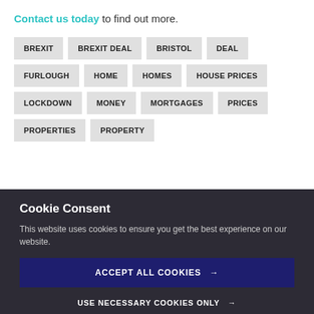Contact us today to find out more.
BREXIT
BREXIT DEAL
BRISTOL
DEAL
FURLOUGH
HOME
HOMES
HOUSE PRICES
LOCKDOWN
MONEY
MORTGAGES
PRICES
PROPERTIES
PROPERTY
Cookie Consent
This website uses cookies to ensure you get the best experience on our website.
ACCEPT ALL COOKIES →
USE NECESSARY COOKIES ONLY →